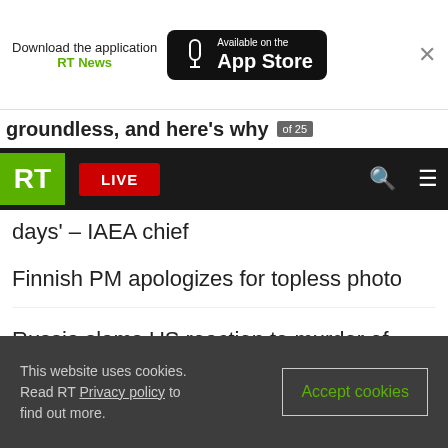[Figure (screenshot): App Store banner: 'Download the application RT News' with Available on the App Store badge and close button]
groundless, and here's why
[Figure (screenshot): RT navigation bar with green RT logo, red LIVE button, search icon, and hamburger menu]
days' – IAEA chief
Finnish PM apologizes for topless photo
Russia slams US reaction to murder of journalist
RT Features
This website uses cookies. Read RT Privacy policy to find out more.